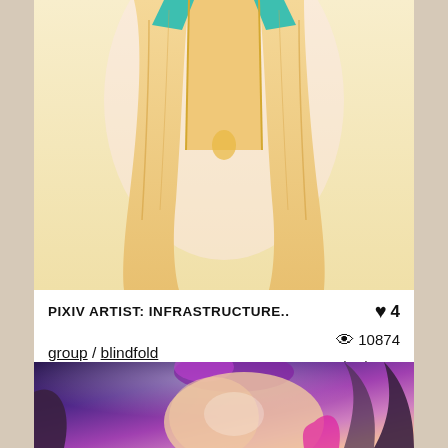[Figure (illustration): Anime-style illustration cropped to show lower torso of a character in yellow/gold outfit with teal/green accents]
PIXIV ARTIST: INFRASTRUCTURE..
group / blindfold
♥ 4  👁 10874  21/05/2020
[Figure (illustration): Anime-style illustration of a female character with pink/purple hair in an explicit pose against a purple background]